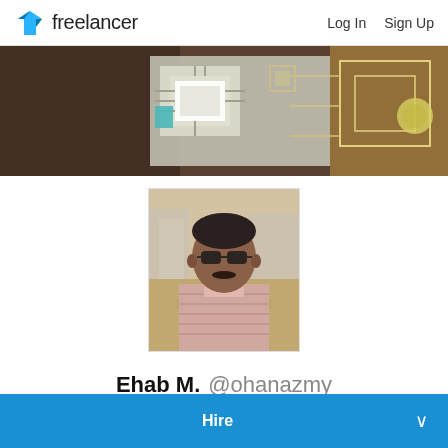Freelancer  Log In  Sign Up
[Figure (photo): Circuit board / electronics component close-up banner image]
[Figure (photo): Profile photo of Ehab M. (ohanazmy), man with sunglasses outdoors]
Ehab M. @ohanazmy
[Figure (illustration): Two blue shield/badge icons indicating verified status]
★ 4.9 (21 reviews)  $ 4.9
Hire